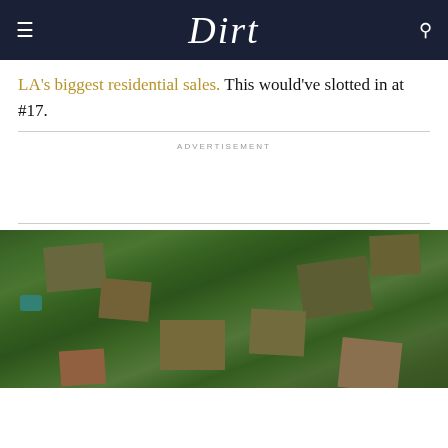Dirt
LA's biggest residential sales. This would've slotted in at #17.
ADVERTISEMENT
[Figure (photo): Aerial view of a residential neighborhood with large houses surrounded by dense trees and lush greenery, showing rooftops and a pool from above.]